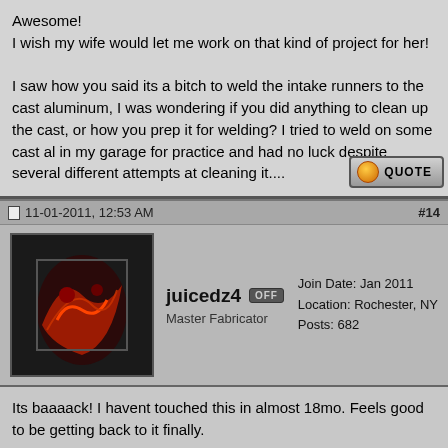Awesome!
I wish my wife would let me work on that kind of project for her!

I saw how you said its a bitch to weld the intake runners to the cast aluminum, I was wondering if you did anything to clean up the cast, or how you prep it for welding? I tried to weld on some cast al in my garage for practice and had no luck despite several different attempts at cleaning it....
11-01-2011, 12:53 AM
#14
juicedz4 [OFF]
Master Fabricator
Join Date: Jan 2011
Location: Rochester, NY
Posts: 682
Its baaaack! I havent touched this in almost 18mo. Feels good to be getting back to it finally.

Good progress tonight. Only got a couple hours in, but made good use of it.

Removed:
-Dash
-Cruise control wiring
-a/c wiring
-speaker wiring
-[cut off]